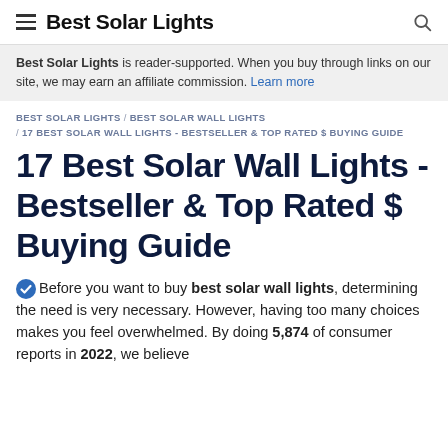Best Solar Lights
Best Solar Lights is reader-supported. When you buy through links on our site, we may earn an affiliate commission. Learn more
BEST SOLAR LIGHTS / BEST SOLAR WALL LIGHTS / 17 BEST SOLAR WALL LIGHTS - BESTSELLER & TOP RATED $ BUYING GUIDE
17 Best Solar Wall Lights - Bestseller & Top Rated $ Buying Guide
Before you want to buy best solar wall lights, determining the need is very necessary. However, having too many choices makes you feel overwhelmed. By doing 5,874 of consumer reports in 2022, we believe